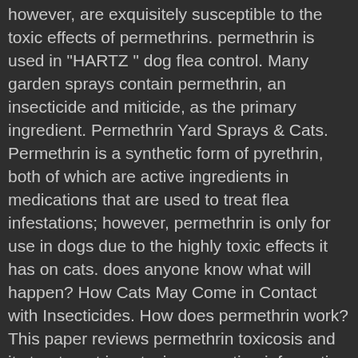however, are exquisitely susceptible to the toxic effects of permethrins. permethrin is used in "HARTZ " dog flea control. Many garden sprays contain permethrin, an insecticide and miticide, as the primary ingredient. Permethrin Yard Sprays & Cats. Permethrin is a synthetic form of pyrethrin, both of which are active ingredients in medications that are used to treat flea infestations; however, permethrin is only for use in dogs due to the highly toxic effects it has on cats. does anyone know what will happen? How Cats May Come in Contact with Insecticides. How does permethrin work? This paper reviews permethrin toxicosis and its treatment in cats, incorporating information from the Australian and selected overseas veterinary pharmacovigi-lance programs. It will be necessary to stabilise the hypothermic or hyperthermic cat prior to treatment. Four owners of cats that presented with clinical signs of permethrin toxicity also had another cat at home that had been treated with a PSO product at the same time. Permethrin is a synthetic pyrethroid widely used in flea control products for small animals. products. The main sims